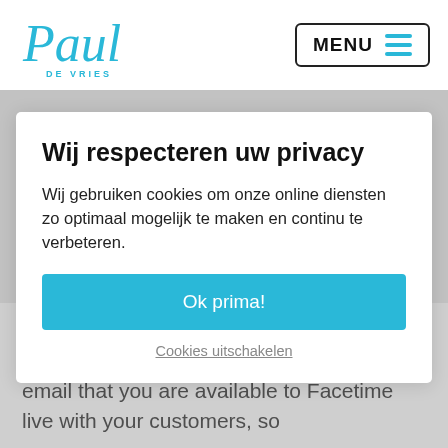[Figure (logo): Paul de Vries logo in teal/cyan script font with 'DE VRIES' text below]
MENU
Wij respecteren uw privacy
Wij gebruiken cookies om onze online diensten zo optimaal mogelijk te maken en continu te verbeteren.
Ok prima!
Cookies uitschakelen
example with the Ventavid app, but Facetime works fine too. So show in your email that you are available to Facetime live with your customers, so